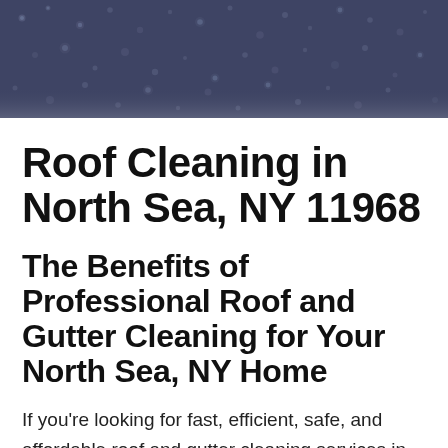[Figure (photo): Dark blue-grey background with rain water droplets on glass surface]
Roof Cleaning in North Sea, NY 11968
The Benefits of Professional Roof and Gutter Cleaning for Your North Sea, NY Home
If you’re looking for fast, efficient, safe, and affordable roof and gutter cleaning services in Suffolk County, get in touch with The Clean